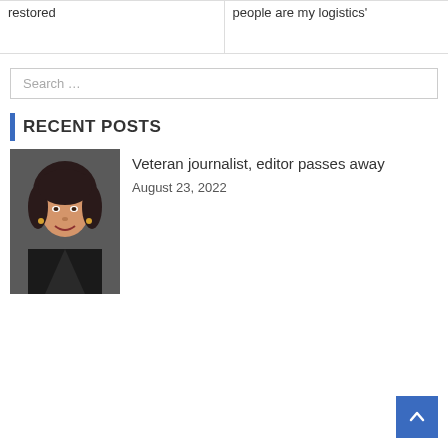restored
people are my logistics'
Search …
RECENT POSTS
[Figure (photo): Portrait photo of a smiling older woman with dark hair, wearing a dark jacket, seated in a chair]
Veteran journalist, editor passes away
August 23, 2022